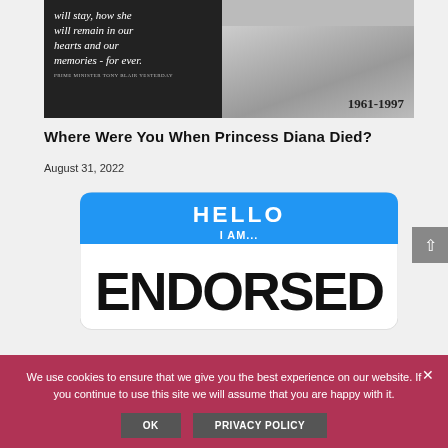[Figure (photo): Newspaper clipping showing a dark background with italic text reading 'will stay, how she will remain in our hearts and our memories - for ever.' with small attribution text below, and a black-and-white photo of Princess Diana on the right side with '1961-1997' caption.]
Where Were You When Princess Diana Died?
August 31, 2022
[Figure (photo): A 'HELLO I AM...' name badge sticker with the word 'ENDORSED' in large black text visible below.]
We use cookies to ensure that we give you the best experience on our website. If you continue to use this site we will assume that you are happy with it.
OK   PRIVACY POLICY